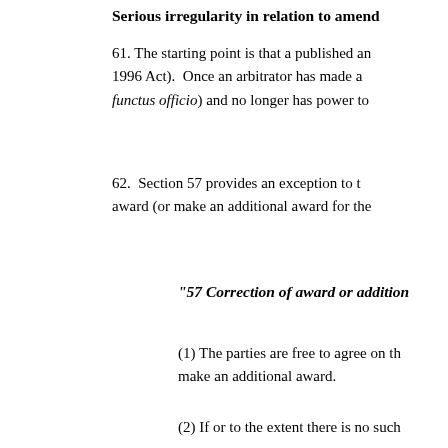Serious irregularity in relation to amend…
61. The starting point is that a published an… 1996 Act). Once an arbitrator has made a… functus officio) and no longer has power to…
62. Section 57 provides an exception to t… award (or make an additional award for the…
"57 Correction of award or addition…
(1) The parties are free to agree on th… make an additional award.
(2) If or to the extent there is no such…
(3) The tribunal may on its own initia…
(a) correct an award so as to re… from an accidental slip or omis… award, or
(b) make an additional award i… interest or costs) which was pr… in the award.
These powers shall not be exercised… reasonable opportunity to make repre…
(4) Any application for the exercise o…